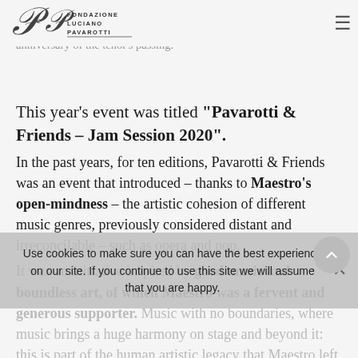Fondazione Luciano Pavarotti [logo] [hamburger menu]
the memory of Maestro Pavarotti, with a concert held in the park surrounding his Home Museum in Modena and marking the anniversary of the tenor's passing.
This year's event was titled "Pavarotti & Friends – Jam Session 2020".
In the past years, for ten editions, Pavarotti & Friends was an event that introduced – thanks to Maestro's open-mindness – the artistic cohesion of different music genres, previously considered distant and irreconcilable – such as opera and pop.
It was an initiative inspired by good music and boundless art, of which Maestro was a fervent and generous supporter. Music with no boundaries, where music brings a huge harmony on stage and beyond it: this is part of the human artistic legacy that Maestro left us.
2020 artistic line-up included: Giuliano Sangiorgi from
Use cookies to make sure you can have the best experience on our site. If you continue to use this site we will assume that you are happy.